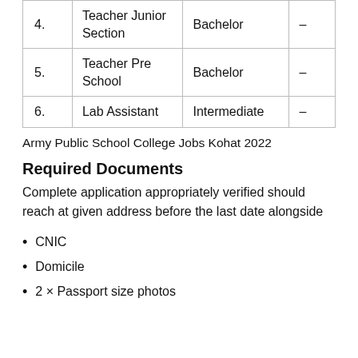|  |  |  |  |
| --- | --- | --- | --- |
| 4. | Teacher Junior Section | Bachelor | – |
| 5. | Teacher Pre School | Bachelor | – |
| 6. | Lab Assistant | Intermediate | – |
Army Public School College Jobs Kohat 2022
Required Documents
Complete application appropriately verified should reach at given address before the last date alongside
CNIC
Domicile
2 × Passport size photos